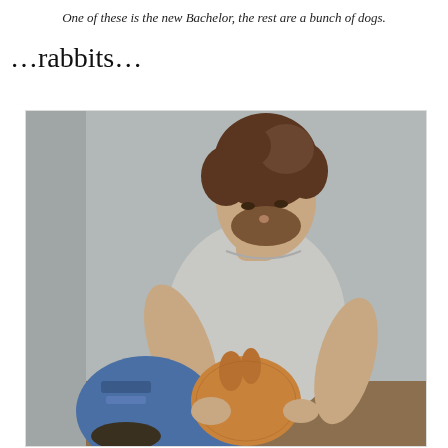One of these is the new Bachelor, the rest are a bunch of dogs.
…rabbits…
[Figure (photo): A man with curly brown hair wearing a grey t-shirt and ripped jeans, sitting against a grey wall, holding a small fluffy orange/brown rabbit in his lap and looking down at it.]